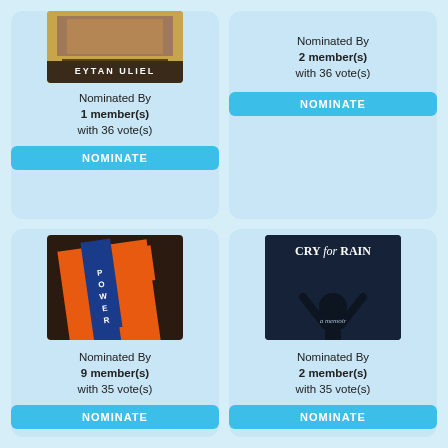[Figure (photo): Book cover partially cropped - EYTAN ULIEL, top portion visible]
Nominated By
1 member(s)
with 36 vote(s)
NOMINATE
Nominated By
2 member(s)
with 36 vote(s)
NOMINATE
[Figure (photo): Book cover - POWER by Robert Greene, orange and blue cover]
Nominated By
9 member(s)
with 35 vote(s)
NOMINATE
[Figure (photo): Book cover - CRY for RAIN, a memoir, by Melineh Petrosian, dark blue cover with silhouette]
Nominated By
2 member(s)
with 35 vote(s)
NOMINATE